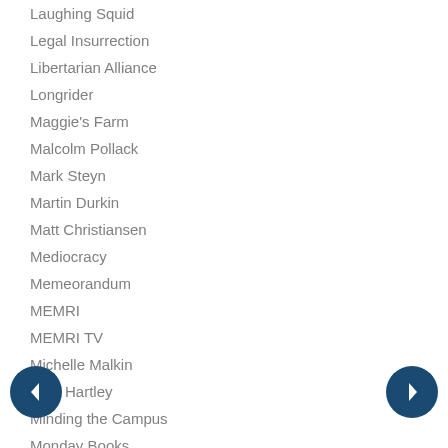Laughing Squid
Legal Insurrection
Libertarian Alliance
Longrider
Maggie's Farm
Malcolm Pollack
Mark Steyn
Martin Durkin
Matt Christiansen
Mediocracy
Memeorandum
MEMRI
MEMRI TV
Michelle Malkin
Mick Hartley
Minding the Campus
Monday Books
NAS
National Review
Neatorama
Neo
New Criterion
Noah Carl
Open Culture